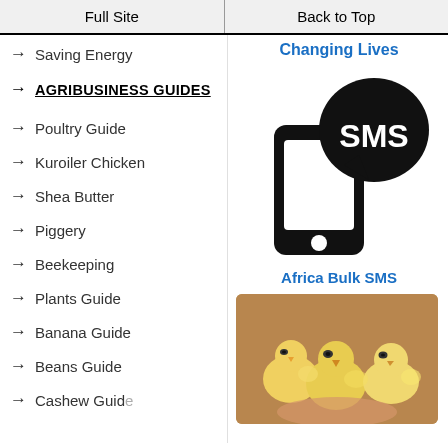Full Site | Back to Top
→ Saving Energy
→ AGRIBUSINESS GUIDES
→ Poultry Guide
→ Kuroiler Chicken
→ Shea Butter
→ Piggery
→ Beekeeping
→ Plants Guide
→ Banana Guide
→ Beans Guide
→ [Cashew Guide - partially visible]
Changing Lives
[Figure (logo): SMS icon: mobile phone with speech bubble containing 'SMS' text, black silhouette]
Africa Bulk SMS
[Figure (photo): Photo of several yellow baby chicks (poultry) huddled together on a hand/surface with warm brown background]